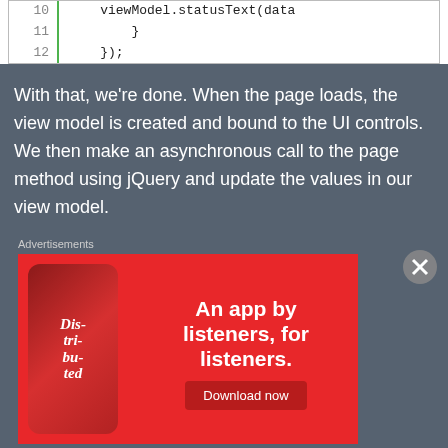[Figure (screenshot): Code snippet showing lines 10-12: viewModel.statusText(data, }, });]
With that, we're done. When the page loads, the view model is created and bound to the UI controls. We then make an asynchronous call to the page method using jQuery and update the values in our view model.
Advertisements
[Figure (illustration): Red advertisement banner: 'An app by listeners, for listeners.' with Download now button and phone graphic showing 'Dis-tri-bu-ted']
[Figure (illustration): Victoria's Secret advertisement: 'SHOP THE COLLECTION' with SHOP NOW button on pink background with model photo]